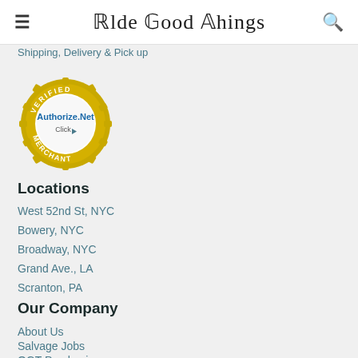≡  Olde Good Things  🔍
Shipping, Delivery & Pick up
[Figure (logo): Authorize.Net Verified Merchant seal — gold gear/badge with 'VERIFIED MERCHANT' around the border, 'Authorize.Net' in blue text and 'Click' with arrow in center]
Locations
West 52nd St, NYC
Bowery, NYC
Broadway, NYC
Grand Ave., LA
Scranton, PA
Our Company
About Us
Salvage Jobs
OGT Purchasing
Where Co…